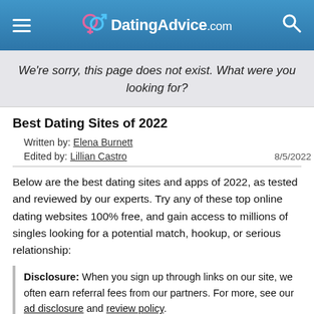DatingAdvice.com
We're sorry, this page does not exist. What were you looking for?
Best Dating Sites of 2022
Written by: Elena Burnett
Edited by: Lillian Castro   8/5/2022
Below are the best dating sites and apps of 2022, as tested and reviewed by our experts. Try any of these top online dating websites 100% free, and gain access to millions of singles looking for a potential match, hookup, or serious relationship:
Disclosure: When you sign up through links on our site, we often earn referral fees from our partners. For more, see our ad disclosure and review policy.